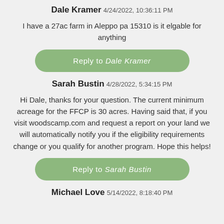Dale Kramer 4/24/2022, 10:36:11 PM
I have a 27ac farm in Aleppo pa 15310 is it elgable for anything
Reply to Dale Kramer
Sarah Bustin 4/28/2022, 5:34:15 PM
Hi Dale, thanks for your question. The current minimum acreage for the FFCP is 30 acres. Having said that, if you visit woodscamp.com and request a report on your land we will automatically notify you if the eligibility requirements change or you qualify for another program. Hope this helps!
Reply to Sarah Bustin
Michael Love 5/14/2022, 8:18:40 PM